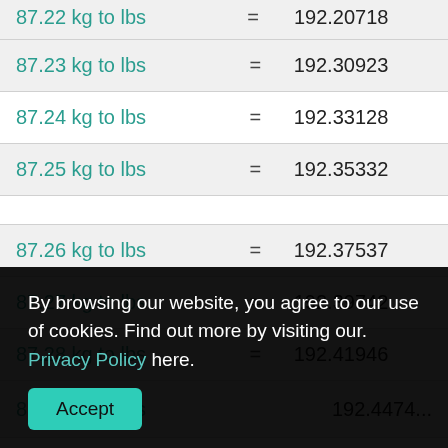| kg | = | lbs |
| --- | --- | --- |
| 87.22 kg to lbs | = | 192.20718 |
| 87.23 kg to lbs | = | 192.30923 |
| 87.24 kg to lbs | = | 192.33128 |
| 87.25 kg to lbs | = | 192.35332 |
| 87.26 kg to lbs | = | 192.37537 |
| 87.27 kg to lbs | = | 192.39742 |
| 87.28 kg to lbs | = | 192.41946 |
| 87.29 kg to lbs | = | 192.4474... |
By browsing our website, you agree to our use of cookies. Find out more by visiting our. Privacy Policy here.